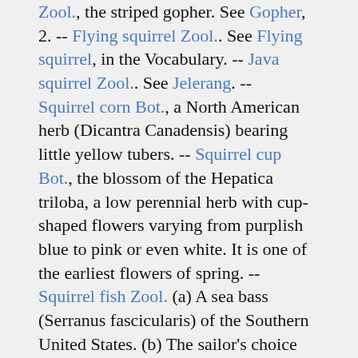Zool., the striped gopher. See Gopher, 2. -- Flying squirrel Zool.. See Flying squirrel, in the Vocabulary. -- Java squirrel Zool.. See Jelerang. -- Squirrel corn Bot., a North American herb (Dicantra Canadensis) bearing little yellow tubers. -- Squirrel cup Bot., the blossom of the Hepatica triloba, a low perennial herb with cup-shaped flowers varying from purplish blue to pink or even white. It is one of the earliest flowers of spring. -- Squirrel fish Zool. (a) A sea bass (Serranus fascicularis) of the Southern United States. (b) The sailor's choice (Diplodus rhomboides). (c) The redmouth, or grunt.